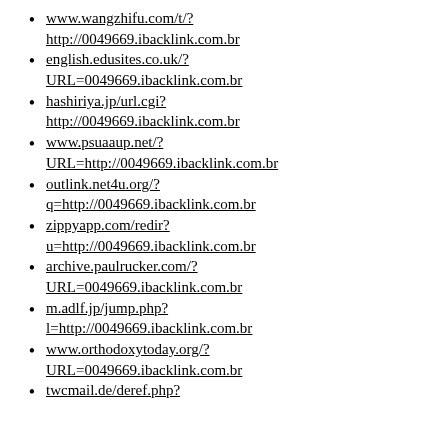www.wangzhifu.com/t/? http://0049669.ibacklink.com.br
english.edusites.co.uk/? URL=0049669.ibacklink.com.br
hashiriya.jp/url.cgi? http://0049669.ibacklink.com.br
www.psuaaup.net/? URL=http://0049669.ibacklink.com.br
outlink.net4u.org/? q=http://0049669.ibacklink.com.br
zippyapp.com/redir? u=http://0049669.ibacklink.com.br
archive.paulrucker.com/? URL=0049669.ibacklink.com.br
m.adlf.jp/jump.php? l=http://0049669.ibacklink.com.br
www.orthodoxytoday.org/? URL=0049669.ibacklink.com.br
twcmail.de/deref.php?